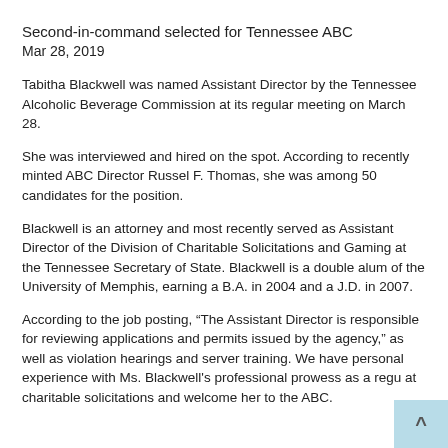Second-in-command selected for Tennessee ABC
Mar 28, 2019
Tabitha Blackwell was named Assistant Director by the Tennessee Alcoholic Beverage Commission at its regular meeting on March 28.
She was interviewed and hired on the spot. According to recently minted ABC Director Russel F. Thomas, she was among 50 candidates for the position.
Blackwell is an attorney and most recently served as Assistant Director of the Division of Charitable Solicitations and Gaming at the Tennessee Secretary of State. Blackwell is a double alum of the University of Memphis, earning a B.A. in 2004 and a J.D. in 2007.
According to the job posting, “The Assistant Director is responsible for reviewing applications and permits issued by the agency,” as well as violation hearings and server training. We have personal experience with Ms. Blackwell's professional prowess as a regu at charitable solicitations and welcome her to the ABC.